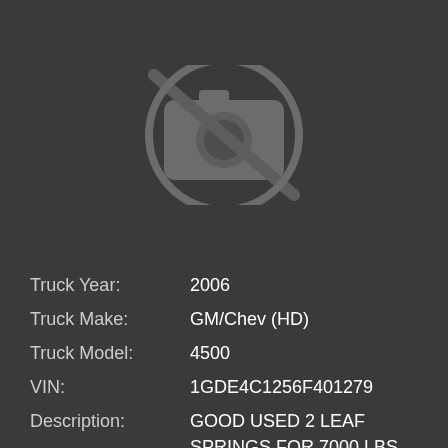[Figure (illustration): No image available icon — camera with a slash through it in a circle, on dark grey background]
Truck Year: 2006
Truck Make: GM/Chev (HD)
Truck Model: 4500
VIN: 1GDE4C1256F401279
Description: GOOD USED 2 LEAF SPRINGS FOR 7000 LBS AXLE
Click for full part details
1988 International 1724 (Stock #